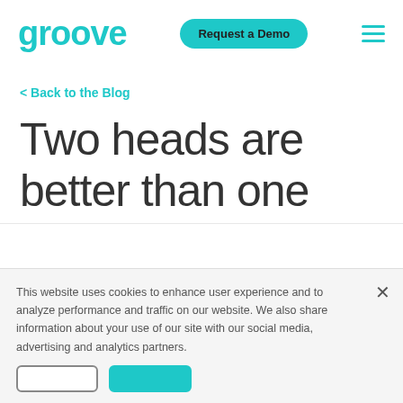[Figure (logo): Groove logo in teal/turquoise color]
[Figure (other): Request a Demo button (teal pill-shaped button)]
[Figure (other): Hamburger menu icon with three teal horizontal lines]
< Back to the Blog
Two heads are better than one
This website uses cookies to enhance user experience and to analyze performance and traffic on our website. We also share information about your use of our site with our social media, advertising and analytics partners.